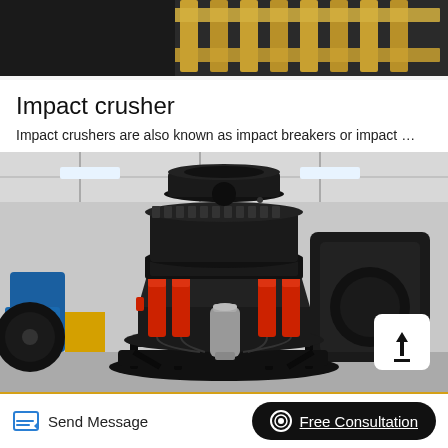[Figure (photo): Partial top image showing industrial equipment or wooden pallet on dark background]
Impact crusher
Impact crushers are also known as impact breakers or impact …
[Figure (photo): Large industrial cone/impact crusher machine with red hydraulic cylinders, mounted on a dark metal base, photographed in a factory/warehouse setting. A white upload button overlay is visible in the bottom-right corner of the image.]
Send Message
Free Consultation